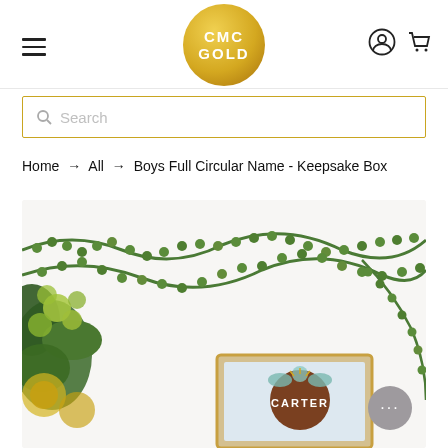CMC GOLD — site header with navigation icons
Search
Home → All → Boys Full Circular Name - Keepsake Box
[Figure (photo): Product photo showing a framed keepsake box with the name CARTER on a brown circular plaque decorated with floral elements, surrounded by green garland and greenery arrangements on a white background.]